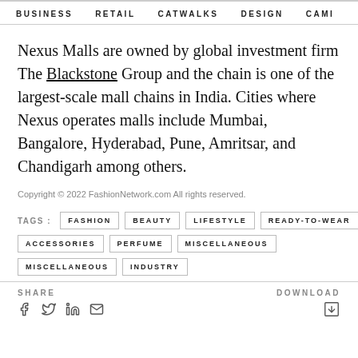BUSINESS   RETAIL   CATWALKS   DESIGN   CAMI >
Nexus Malls are owned by global investment firm The Blackstone Group and the chain is one of the largest-scale mall chains in India. Cities where Nexus operates malls include Mumbai, Bangalore, Hyderabad, Pune, Amritsar, and Chandigarh among others.
Copyright © 2022 FashionNetwork.com All rights reserved.
TAGS : FASHION BEAUTY LIFESTYLE READY-TO-WEAR ACCESSORIES PERFUME MISCELLANEOUS MISCELLANEOUS INDUSTRY
SHARE DOWNLOAD